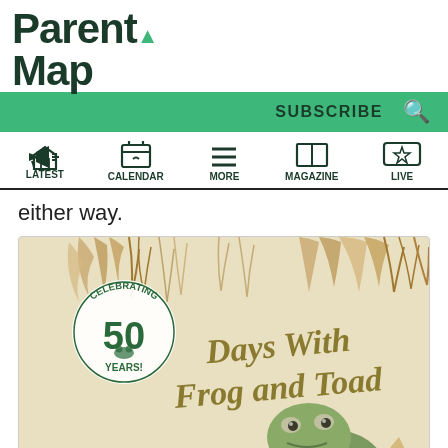ParentMap
SUBSCRIBE
LATEST | CALENDAR | MORE | MAGAZINE | LIVE
either way.
[Figure (photo): Book cover of 'Days With Frog and Toad' celebrating 50 years, showing the title text in golden-olive serif font with illustrated grass/reeds and a frog character visible at the bottom.]